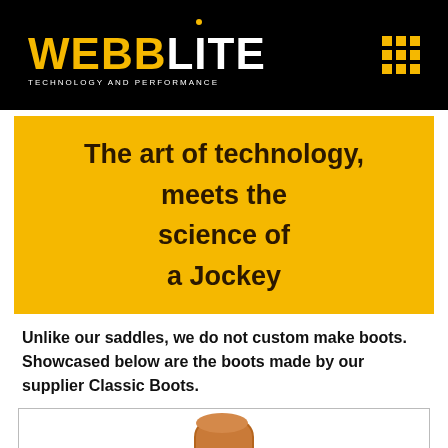WEBBLITE TECHNOLOGY AND PERFORMANCE
The art of technology, meets the science of a Jockey
Unlike our saddles, we do not custom make boots. Showcased below are the boots made by our supplier Classic Boots.
[Figure (photo): Partial image of a brown leather jockey boot at the bottom of the page]